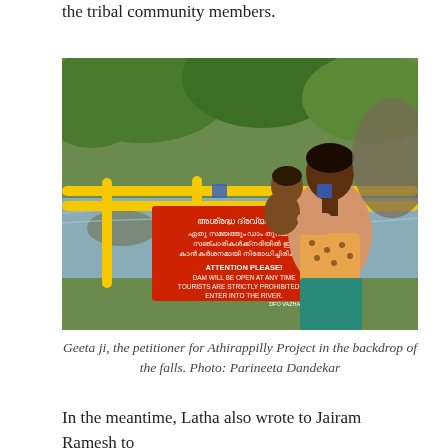the tribal community members.
[Figure (photo): A woman (Geeta ji) holding a child stands in front of a red warning sign with Malayalam and English text reading 'ATTENTION PLEASE! DAM WILL BE OPEN AT ANY TIME TOURISTS ARE STRICTLY PROHIBITED TO ENTER INTO THE RIVER. DFO VAZHACHAL'. Yellow railing pipes are visible and lush green trees in the background along a river.]
Geeta ji, the petitioner for Athirappilly Project in the backdrop of the falls. Photo: Parineeta Dandekar
In the meantime, Latha also wrote to Jairam Ramesh to